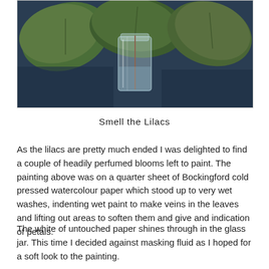[Figure (photo): Watercolour painting showing large green leaves and a glass jar with lilac blooms against a dark blue/grey background.]
Smell the Lilacs
As the lilacs are pretty much ended I was delighted to find a couple of headily perfumed blooms left to paint. The painting above was on a quarter sheet of Bockingford cold pressed watercolour paper which stood up to very wet washes, indenting wet paint to make veins in the leaves and lifting out areas to soften them and give and indication of petals.
The white of untouched paper shines through in the glass jar. This time I decided against masking fluid as I hoped for a soft look to the painting.
The three images below show how a smaller study was made on very damp paper working wet in wet then leaving the paper to dry before re-wetting the paper and adding further washes.